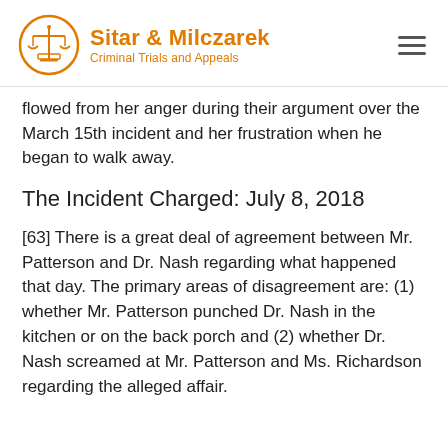Sitar & Milczarek — Criminal Trials and Appeals
flowed from her anger during their argument over the March 15th incident and her frustration when he began to walk away.
The Incident Charged: July 8, 2018
[63] There is a great deal of agreement between Mr. Patterson and Dr. Nash regarding what happened that day. The primary areas of disagreement are: (1) whether Mr. Patterson punched Dr. Nash in the kitchen or on the back porch and (2) whether Dr. Nash screamed at Mr. Patterson and Ms. Richardson regarding the alleged affair.